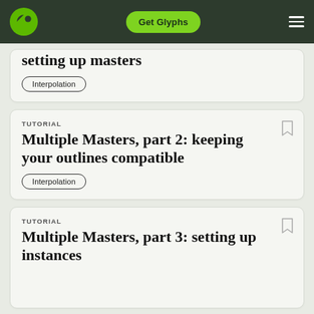Get Glyphs
setting up masters
Interpolation
TUTORIAL
Multiple Masters, part 2: keeping your outlines compatible
Interpolation
TUTORIAL
Multiple Masters, part 3: setting up instances